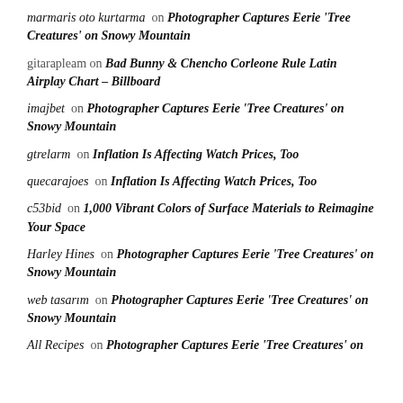marmaris oto kurtarma on Photographer Captures Eerie ‘Tree Creatures’ on Snowy Mountain
gitarapleam on Bad Bunny & Chencho Corleone Rule Latin Airplay Chart – Billboard
imajbet on Photographer Captures Eerie ‘Tree Creatures’ on Snowy Mountain
gtrelarm on Inflation Is Affecting Watch Prices, Too
quecarajoes on Inflation Is Affecting Watch Prices, Too
c53bid on 1,000 Vibrant Colors of Surface Materials to Reimagine Your Space
Harley Hines on Photographer Captures Eerie ‘Tree Creatures’ on Snowy Mountain
web tasarım on Photographer Captures Eerie ‘Tree Creatures’ on Snowy Mountain
All Recipes on Photographer Captures Eerie ‘Tree Creatures’ on